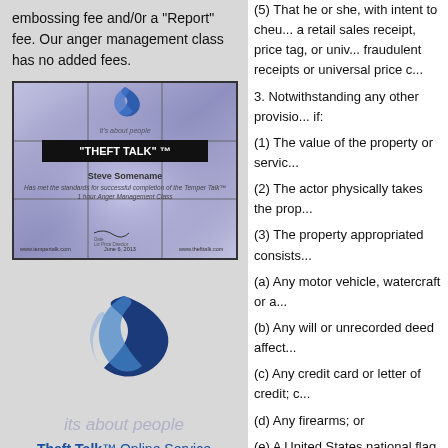embossing fee and/0r a "Report" fee. Our anger management class has no added fees.
[Figure (photo): Certificate image for 'THEFT TALK' TM online service with logo, name line, signature, and website footer]
[Figure (logo): Theft Talk logo - stylized bird/check mark in blue]
its about people
Theft Talk™ Online Service
Theft /Shoplifting in your State
(5) That he or she, with intent to cheat... a retail sales receipt, price tag, or univ... fraudulent receipts or universal price c...
3. Notwithstanding any other provisio... if:
(1) The value of the property or servic...
(2) The actor physically takes the prop...
(3) The property appropriated consists...
(a) Any motor vehicle, watercraft or a...
(b) Any will or unrecorded deed affect...
(c) Any credit card or letter of credit; c...
(d) Any firearms; or
(e) A United States national flag desig...
(f) Any original copy of an act, bill or...
(g) Any pleading, notice, judgment or...